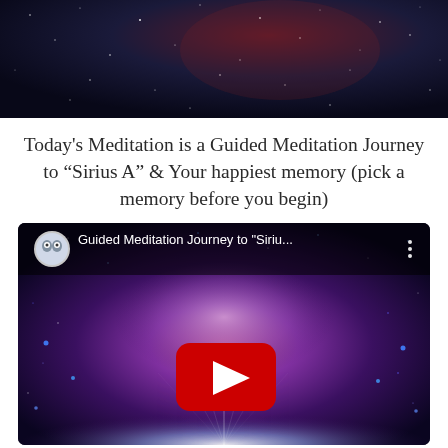[Figure (photo): Dark starry night sky background image — deep space with dark blue and purple tones]
Today's Meditation is a Guided Meditation Journey to “Sirius A” & Your happiest memory (pick a memory before you begin)
[Figure (screenshot): YouTube video thumbnail showing Guided Meditation Journey to "Siriu..." with a cosmic pink and purple light burst background, YouTube play button in center, channel icon (owl/bird logo) in top-left corner, three-dot menu in top-right]